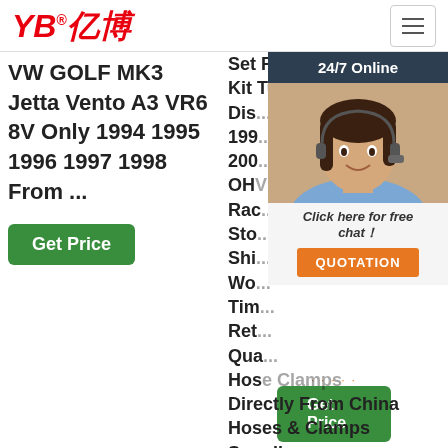[Figure (logo): YB亿博 logo in red italic text with registered trademark symbol]
[Figure (other): Hamburger menu icon, three horizontal lines in a rounded rectangle]
VW GOLF MK3 Jetta Vento A3 VR6 8V Only 1994 1995 1996 1997 1998 From ...
Get Price
Set Pipe Tube Hose Kit Turbol P... Dis... 199... 200... OHV Rac... Sto... Shi... Wo... Tim... Ret... Qua... Hose Clamps Directly From China Hoses & Clamps Suppliers...
[Figure (infographic): 24/7 Online chat widget with a customer service representative photo, 'Click here for free chat!' text and QUOTATION button]
Get Price